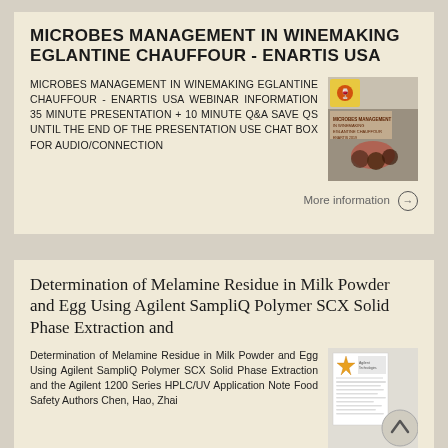MICROBES MANAGEMENT IN WINEMAKING EGLANTINE CHAUFFOUR - ENARTIS USA
MICROBES MANAGEMENT IN WINEMAKING EGLANTINE CHAUFFOUR - ENARTIS USA WEBINAR INFORMATION 35 minute presentation + 10 minute Q&A Save Qs until the end of the presentation Use chat box for audio/connection
[Figure (photo): Thumbnail image of winemaking presentation slides with wine-related imagery]
More information →
Determination of Melamine Residue in Milk Powder and Egg Using Agilent SampliQ Polymer SCX Solid Phase Extraction and
Determination of Melamine Residue in Milk Powder and Egg Using Agilent SampliQ Polymer SCX Solid Phase Extraction and the Agilent 1200 Series HPLC/UV Application Note Food Safety Authors Chen, Hao, Zhai
[Figure (photo): Thumbnail image of scientific document/application note with Agilent logo]